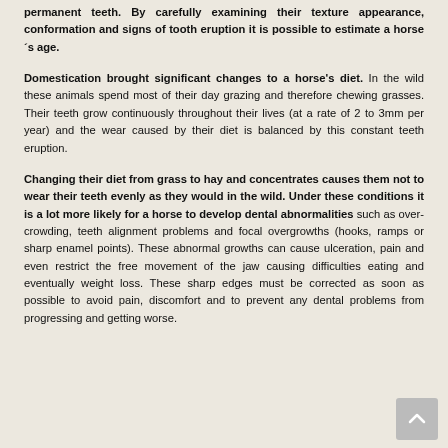permanent teeth. By carefully examining their texture appearance, conformation and signs of tooth eruption it is possible to estimate a horse´s age.
Domestication brought significant changes to a horse's diet. In the wild these animals spend most of their day grazing and therefore chewing grasses. Their teeth grow continuously throughout their lives (at a rate of 2 to 3mm per year) and the wear caused by their diet is balanced by this constant teeth eruption.
Changing their diet from grass to hay and concentrates causes them not to wear their teeth evenly as they would in the wild. Under these conditions it is a lot more likely for a horse to develop dental abnormalities such as over-crowding, teeth alignment problems and focal overgrowths (hooks, ramps or sharp enamel points). These abnormal growths can cause ulceration, pain and even restrict the free movement of the jaw causing difficulties eating and eventually weight loss. These sharp edges must be corrected as soon as possible to avoid pain, discomfort and to prevent any dental problems from progressing and getting worse.